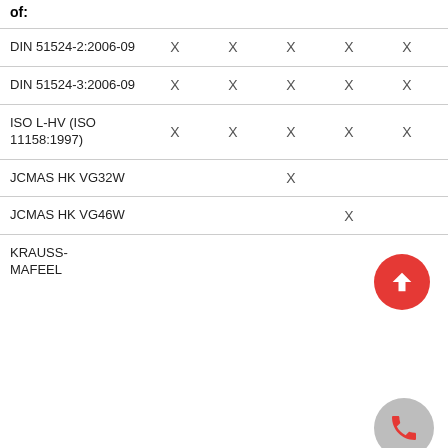of:
|  |  |  |  |  |  |  |  |
| --- | --- | --- | --- | --- | --- | --- | --- |
| DIN 51524-2:2006-09 | X | X | X | X | X | X | X |
| DIN 51524-3:2006-09 | X | X | X | X | X |  |  |
| ISO L-HV (ISO 11158:1997) | X | X | X | X | X |  |  |
| JCMAS HK VG32W |  |  | X |  |  |  |  |
| JCMAS HK VG46W |  |  |  | X |  |  |  |
| KRAUSS-MAFEEL |  |  |  |  | X |  |  |